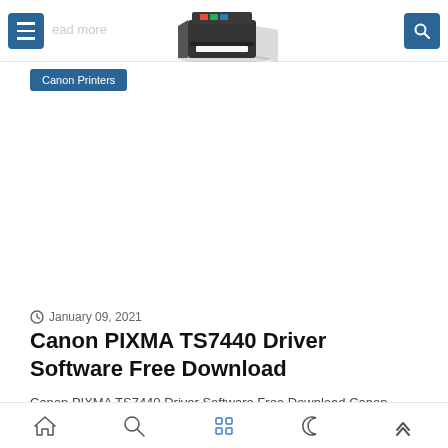Canon Printers – [menu] [search]
[Figure (illustration): Black laser printer illustration with paper tray, viewed from front-left angle, with shadow]
Canon Printers
January 09, 2021
Canon PIXMA TS7440 Driver Software Free Download
Canon PIXMA TS7440 Driver Software Free Download Canon PIXMA TS7440  Canon PIXMA TS 7440 Driver Software Free Download For Windows 10 / Wind...
Bottom navigation bar with home, search, grid, moon, and up-arrow icons